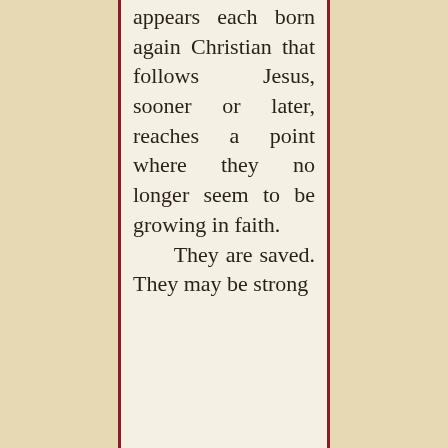appears each born again Christian that follows Jesus, sooner or later, reaches a point where they no longer seem to be growing in faith. They are saved. They may be strong